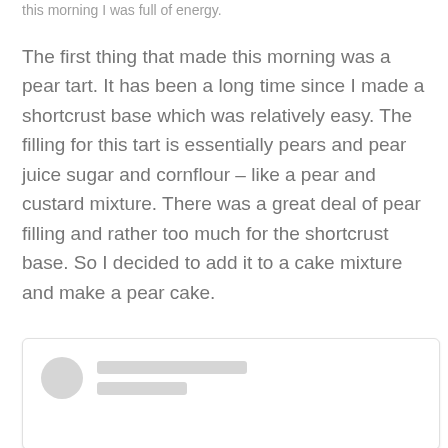this morning I was full of energy.
The first thing that made this morning was a pear tart. It has been a long time since I made a shortcrust base which was relatively easy. The filling for this tart is essentially pears and pear juice sugar and cornflour – like a pear and custard mixture. There was a great deal of pear filling and rather too much for the shortcrust base. So I decided to add it to a cake mixture and make a pear cake.
[Figure (other): A social media post card placeholder with a circular grey avatar on the left and two grey placeholder lines on the right representing a username and subtitle.]